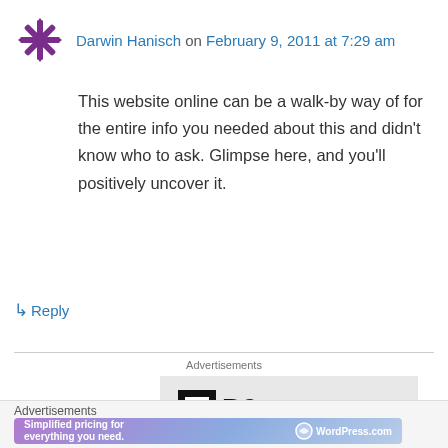Darwin Hanisch on February 9, 2011 at 7:29 am
This website online can be a walk-by way of for the entire info you needed about this and didn't know who to ask. Glimpse here, and you'll positively uncover it.
↳ Reply
Advertisements
[Figure (logo): P2 logo — black square icon with white inner square and 'P2' text beside it]
Advertisements
[Figure (infographic): WordPress.com advertisement banner with gradient purple-blue background, text 'Simplified pricing for everything you need.' and WordPress.com logo]